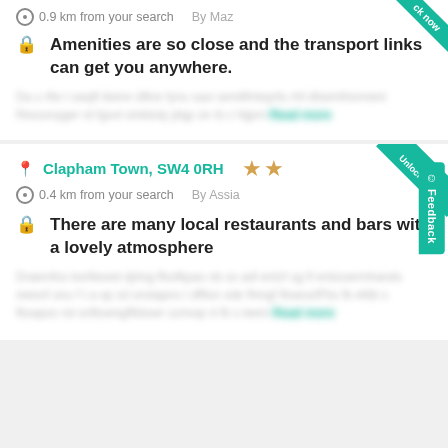0.9 km from your search    By Maz
Amenities are so close and the transport links can get you anywhere.
[blurred review text] Read more
Clapham Town, SW4 0RH    0.4 km from your search    By Assia
There are many local restaurants and bars with a lovely atmosphere
[blurred review text] Read more